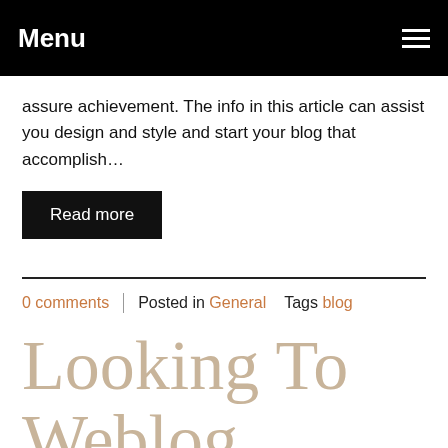Menu
assure achievement. The info in this article can assist you design and style and start your blog that accomplish…
Read more
0 comments   Posted in General   Tags blog
Looking To Weblog About Modern technology? Try These Superb Advice!